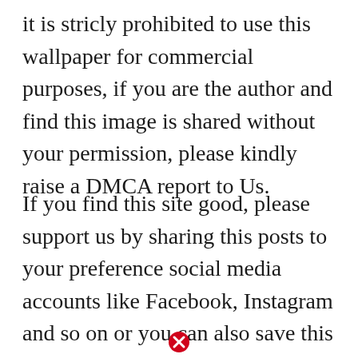it is stricly prohibited to use this wallpaper for commercial purposes, if you are the author and find this image is shared without your permission, please kindly raise a DMCA report to Us.
If you find this site good, please support us by sharing this posts to your preference social media accounts like Facebook, Instagram and so on or you can also save this blog page with the title how many gb is days gone ps4 by using Ctrl + D for devices
[Figure (other): Red circle with white X close button]